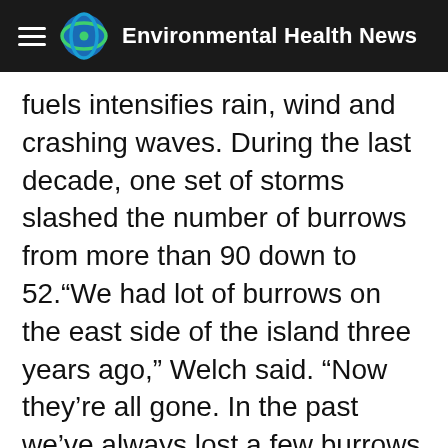Environmental Health News
fuels intensifies rain, wind and crashing waves. During the last decade, one set of storms slashed the number of burrows from more than 90 down to 52.“We had lot of burrows on the east side of the island three years ago,” Welch said. “Now they’re all gone. In the past we’ve always lost a few burrows to storms. But beginning with some storms in 2012, it’s become frustrating. Even this year, which is turning out to be a good year for seabirds, it’s been difficult. In March, we went out to look at the burrows and